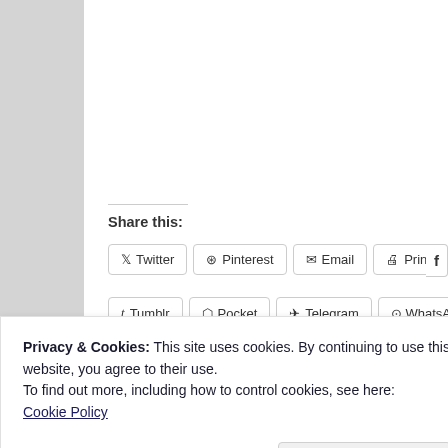Share this:
Twitter
Pinterest
Email
Print
Facebook
Tumblr
Pocket
Telegram
WhatsApp
[Figure (screenshot): Like button widget with star icon and 'Be the first to like this.' text]
Privacy & Cookies: This site uses cookies. By continuing to use this website, you agree to their use.
To find out more, including how to control cookies, see here: Cookie Policy
Close and accept